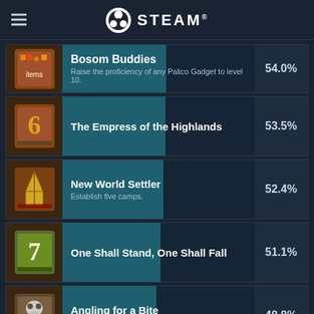STEAM
Bosom Buddies - Raise the proficiency of any Palico Gadget to level 10. - 54.0%
The Empress of the Highlands - 53.5%
New World Settler - Establish five camps. - 52.4%
One Shall Stand, One Shall Fall - 51.1%
Angling for a Bite - Catch your first fish. - 48.8%
(partial row)